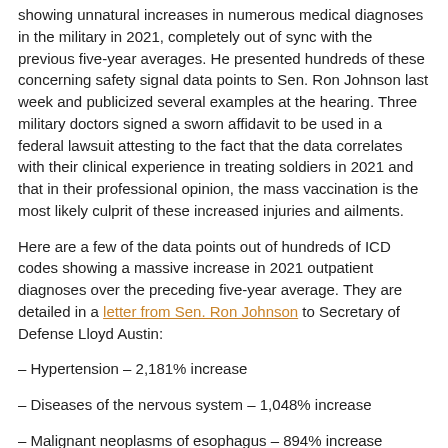showing unnatural increases in numerous medical diagnoses in the military in 2021, completely out of sync with the previous five-year averages. He presented hundreds of these concerning safety signal data points to Sen. Ron Johnson last week and publicized several examples at the hearing. Three military doctors signed a sworn affidavit to be used in a federal lawsuit attesting to the fact that the data correlates with their clinical experience in treating soldiers in 2021 and that in their professional opinion, the mass vaccination is the most likely culprit of these increased injuries and ailments.
Here are a few of the data points out of hundreds of ICD codes showing a massive increase in 2021 outpatient diagnoses over the preceding five-year average. They are detailed in a letter from Sen. Ron Johnson to Secretary of Defense Lloyd Austin:
– Hypertension – 2,181% increase
– Diseases of the nervous system – 1,048% increase
– Malignant neoplasms of esophagus – 894% increase